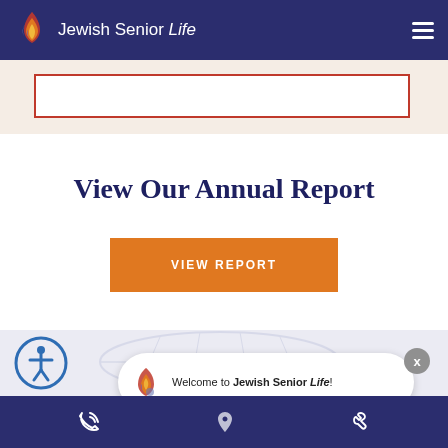Jewish Senior Life
[Figure (other): Partially visible red-bordered white box on cream background]
View Our Annual Report
VIEW REPORT
[Figure (other): Accessibility icon (person in circle) and leaf watermark on light purple background]
Welcome to Jewish Senior Life!
Bottom navigation bar with phone, location, and wrench icons